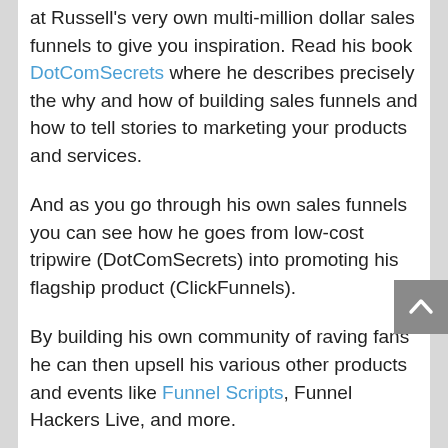at Russell's very own multi-million dollar sales funnels to give you inspiration. Read his book DotComSecrets where he describes precisely the why and how of building sales funnels and how to tell stories to marketing your products and services.
And as you go through his own sales funnels you can see how he goes from low-cost tripwire (DotComSecrets) into promoting his flagship product (ClickFunnels).
By building his own community of raving fans he can then upsell his various other products and events like Funnel Scripts, Funnel Hackers Live, and more.
Once you've gone through his funnels, then you can take the components that apply to your own